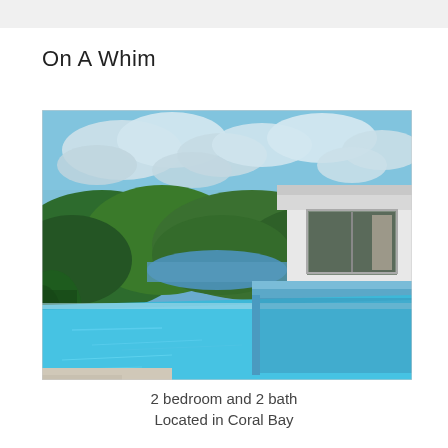On A Whim
[Figure (photo): Outdoor infinity pool with blue tiled edges overlooking a tropical bay with green hills and cloudy sky. A white modern villa building is visible on the right side.]
2 bedroom and 2 bath
Located in Coral Bay